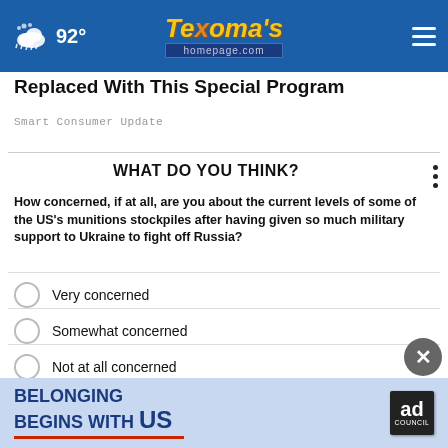[Figure (screenshot): Website header bar for Texoma's Homepage with weather (cloud icon, 92°), logo, and hamburger menu]
Replaced With This Special Program
Smart Consumer Update
WHAT DO YOU THINK?
How concerned, if at all, are you about the current levels of some of the US's munitions stockpiles after having given so much military support to Ukraine to fight off Russia?
Very concerned
Somewhat concerned
Not at all concerned
Other / No opinion
[Figure (screenshot): Ad banner: BELONGING BEGINS WITH US, Ad Council logo]